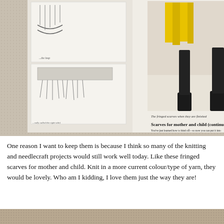[Figure (photo): Photograph of an open book/magazine showing a page about 'Scarves for mother and child (continued)' with text about making fringes and an image of fringed scarves being worn. The book is lying on a textured carpet/rug background.]
One reason I want to keep them is because I think so many of the knitting and needlecraft projects would still work well today. Like these fringed scarves for mother and child. Knit in a more current colour/type of yarn, they would be lovely. Who am I kidding, I love them just the way they are!
[Figure (photo): Partial photograph visible at the bottom of the page showing a close-up of what appears to be a textured knitted or woven fabric on a carpet background.]